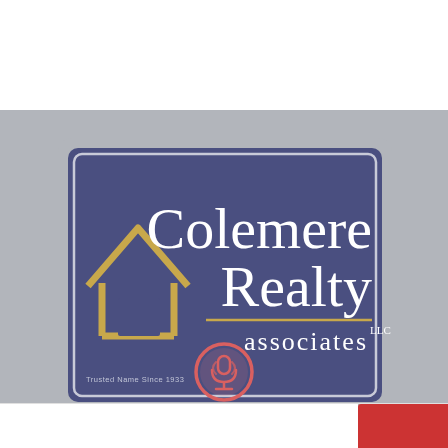[Figure (logo): Colemere Realty Associates LLC logo — dark navy/purple rectangular sign with rounded corners, silver/gray border, house icon in gold/tan on the left, text 'Colemere Realty' in large white serif font on the right, gold divider line, 'associates LLC' in smaller white serif font below, 'Trusted Name Since 1933' in small text at bottom left]
[Figure (other): Podcast microphone/broadcast icon in salmon/coral red color, circular badge style]